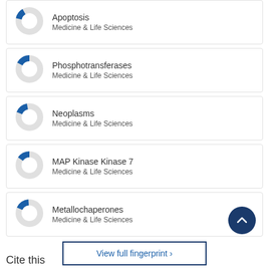[Figure (donut-chart): Partial donut chart for Apoptosis, Medicine & Life Sciences]
[Figure (donut-chart): Partial donut chart for Phosphotransferases, Medicine & Life Sciences]
[Figure (donut-chart): Partial donut chart for Neoplasms, Medicine & Life Sciences]
[Figure (donut-chart): Partial donut chart for MAP Kinase Kinase 7, Medicine & Life Sciences]
[Figure (donut-chart): Partial donut chart for Metallochaperones, Medicine & Life Sciences]
View full fingerprint ›
Cite this